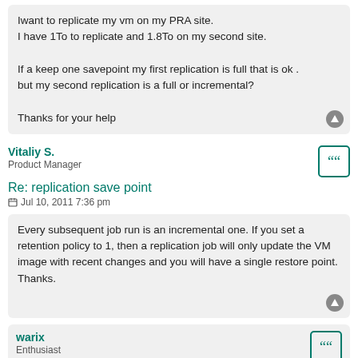Iwant to replicate my vm on my PRA site.
I have 1To to replicate and 1.8To on my second site.

If a keep one savepoint my first replication is full that is ok . but my second replication is a full or incremental?

Thanks for your help
Vitaliy S.
Product Manager
Re: replication save point
Jul 10, 2011 7:36 pm
Every subsequent job run is an incremental one. If you set a retention policy to 1, then a replication job will only update the VM image with recent changes and you will have a single restore point. Thanks.
warix
Enthusiast